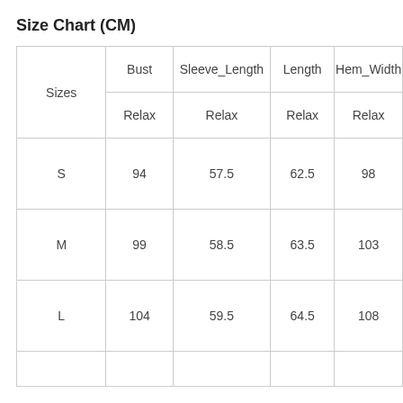Size Chart (CM)
| Sizes | Bust / Relax | Sleeve_Length / Relax | Length / Relax | Hem_Width / Relax |
| --- | --- | --- | --- | --- |
| S | 94 | 57.5 | 62.5 | 98 |
| M | 99 | 58.5 | 63.5 | 103 |
| L | 104 | 59.5 | 64.5 | 108 |